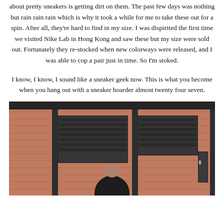about pretty sneakers is getting dirt on them. The past few days was nothing but rain rain rain which is why it took a while for me to take these out for a spin. After all, they're hard to find in my size. I was dispirited the first time we visited Nike Lab in Hong Kong and saw these but my size were sold out. Fortunately they re-stocked when new colorways were released, and I was able to cop a pair just in time. So I'm stoked.
I know, I know, I sound like a sneaker geek now. This is what you become when you hang out with a sneaker hoarder almost twenty four seven.
[Figure (photo): Person standing in front of a terracotta brick wall with louvered dark metal ventilation grilles. The wall has horizontal brick courses visible. The person appears at the bottom center of the image.]